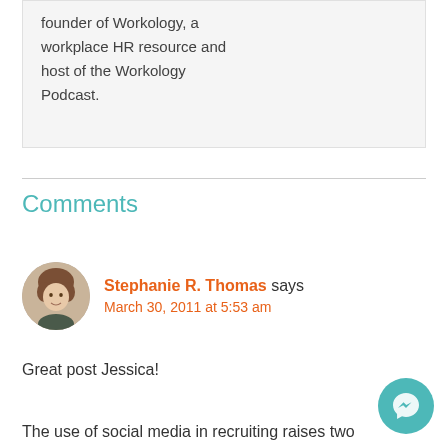founder of Workology, a workplace HR resource and host of the Workology Podcast.
Comments
Stephanie R. Thomas says
March 30, 2011 at 5:53 am
Great post Jessica!
The use of social media in recruiting raises two